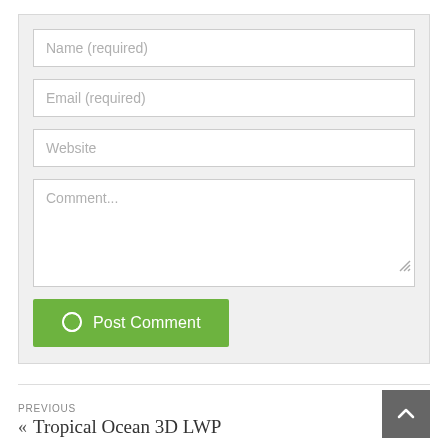[Figure (screenshot): Web form with Name (required), Email (required), Website, and Comment... input fields, a green Post Comment button with speech bubble icon, a Previous navigation link to 'Tropical Ocean 3D LWP', and a scroll-to-top button.]